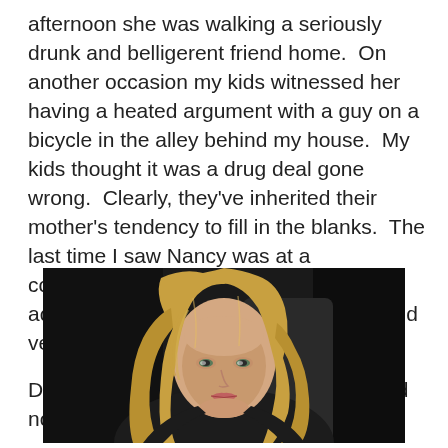afternoon she was walking a seriously drunk and belligerent friend home.  On  another occasion my kids witnessed her having a heated argument with a guy on a bicycle in the alley behind my house.  My kids thought it was a drug deal gone wrong.  Clearly, they've inherited their mother's tendency to fill in the blanks.  The last time I saw Nancy was at a convenience store — she didn't acknowledge me and was very jumpy and very, very thin.

Drugs, it had to be drugs.  Plus,  she had no baby with her.
[Figure (photo): Photo of a blonde woman with long hair, sitting in a dark car interior, wearing a dark outfit, looking slightly downward and to the side.]